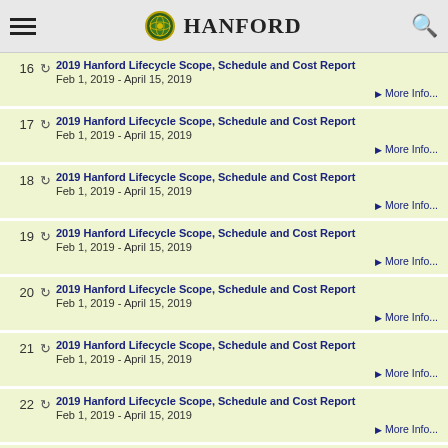Hanford
16 2019 Hanford Lifecycle Scope, Schedule and Cost Report
Feb 1, 2019 - April 15, 2019
More Info...
17 2019 Hanford Lifecycle Scope, Schedule and Cost Report
Feb 1, 2019 - April 15, 2019
More Info...
18 2019 Hanford Lifecycle Scope, Schedule and Cost Report
Feb 1, 2019 - April 15, 2019
More Info...
19 2019 Hanford Lifecycle Scope, Schedule and Cost Report
Feb 1, 2019 - April 15, 2019
More Info...
20 2019 Hanford Lifecycle Scope, Schedule and Cost Report
Feb 1, 2019 - April 15, 2019
More Info...
21 2019 Hanford Lifecycle Scope, Schedule and Cost Report
Feb 1, 2019 - April 15, 2019
More Info...
22 2019 Hanford Lifecycle Scope, Schedule and Cost Report
Feb 1, 2019 - April 15, 2019
More Info...
23 2019 Hanford Lifecycle Scope, Schedule and Cost Report
Feb 1, 2019 - April 15, 2019
More Info...